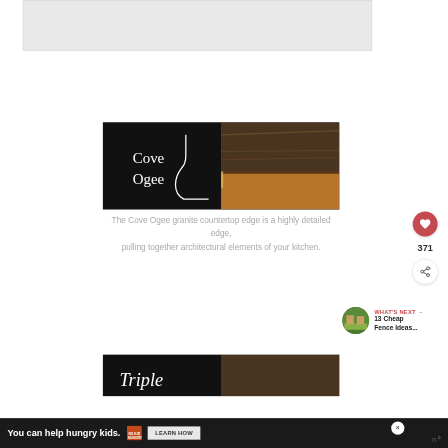[Figure (photo): Top gray placeholder banner area]
[Figure (illustration): Cove Ogee granite countertop edge illustration showing a stylized profile line on black background, with text 'Cove Ogee', next to a photo of a real granite countertop with warm brown tones.]
The Cove Ogee granite countertop edge is a highly detailed edge, pulling together architectural elements of your kitchen.
[Figure (screenshot): Social media interaction buttons: red heart/like circle, count '371', and share icon circle.]
WHAT'S NEXT → 13 Cheap Fence Ideas...
[Figure (photo): Partial bottom image showing beginning of next slide labeled 'Triple' on black background with countertop photo.]
You can help hungry kids. NO KID HUNGRY LEARN HOW
[Figure (logo): Weather icon in bottom right corner of ad bar]